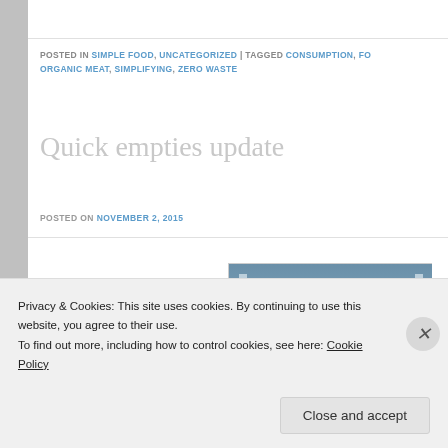POSTED IN SIMPLE FOOD, UNCATEGORIZED | TAGGED CONSUMPTION, FO... ORGANIC MEAT, SIMPLIFYING, ZERO WASTE
Quick empties update
POSTED ON NOVEMBER 2, 2015
[Figure (photo): Photo of the inside of an empty freezer or container, showing white/grey interior with a handle visible at the bottom]
Privacy & Cookies: This site uses cookies. By continuing to use this website, you agree to their use.
To find out more, including how to control cookies, see here: Cookie Policy
Close and accept